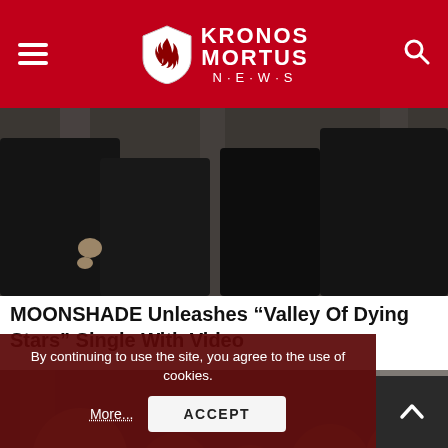KRONOS MORTUS N·E·W·S
[Figure (photo): Partial view of band members in black clothing against stone pillars background (cropped, showing lower bodies/torsos only)]
MOONSHADE Unleashes “Valley Of Dying Stars” Single With Video
[Figure (photo): Band photo of Moonshade: five male band members standing in front of stone pillars, wearing mostly black clothing, one in red shirt with leather jacket]
By continuing to use the site, you agree to the use of cookies.
More...
ACCEPT